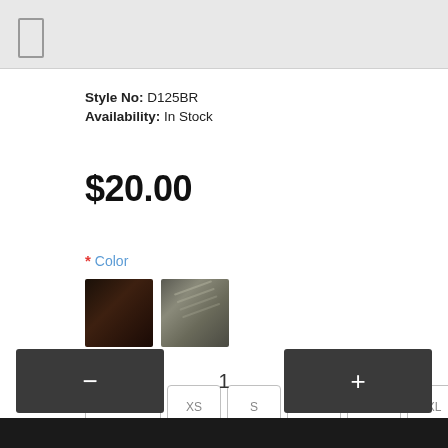Style No: D125BR
Availability: In Stock
$20.00
* Color
[Figure (illustration): Two color swatches: dark brown/black on left, grey/taupe textured on right]
* Size
MINI
XS
S
M
L
XL